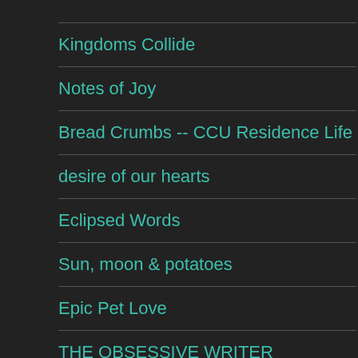Kingdoms Collide
Notes of Joy
Bread Crumbs -- CCU Residence Life
desire of our hearts
Eclipsed Words
Sun, moon & potatoes
Epic Pet Love
THE OBSESSIVE WRITER